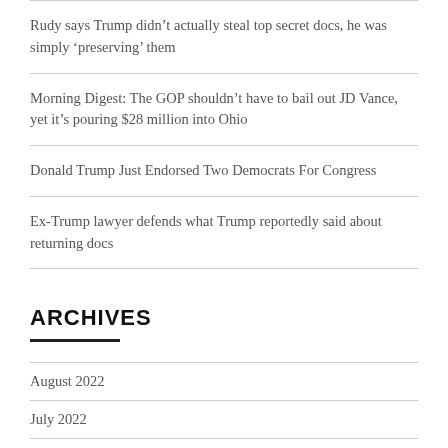Rudy says Trump didn’t actually steal top secret docs, he was simply ‘preserving’ them
Morning Digest: The GOP shouldn’t have to bail out JD Vance, yet it’s pouring $28 million into Ohio
Donald Trump Just Endorsed Two Democrats For Congress
Ex-Trump lawyer defends what Trump reportedly said about returning docs
ARCHIVES
August 2022
July 2022